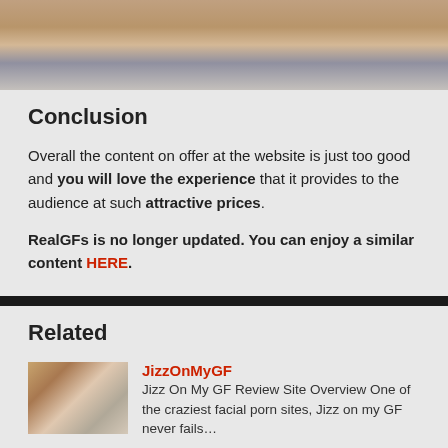[Figure (photo): Cropped photo strip showing people's lower bodies, legs visible]
Conclusion
Overall the content on offer at the website is just too good and you will love the experience that it provides to the audience at such attractive prices.
RealGFs is no longer updated. You can enjoy a similar content HERE.
Related
JizzOnMyGF
Jizz On My GF Review Site Overview One of the craziest facial porn sites, Jizz on my GF never fails…
Fubiloy